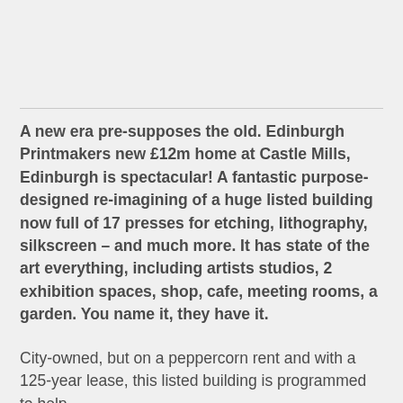A new era pre-supposes the old. Edinburgh Printmakers new £12m home at Castle Mills, Edinburgh is spectacular! A fantastic purpose-designed re-imagining of a huge listed building now full of 17 presses for etching, lithography, silkscreen – and much more. It has state of the art everything, including artists studios, 2 exhibition spaces, shop, cafe, meeting rooms, a garden. You name it, they have it.
City-owned, but on a peppercorn rent and with a 125-year lease, this listed building is programmed to help